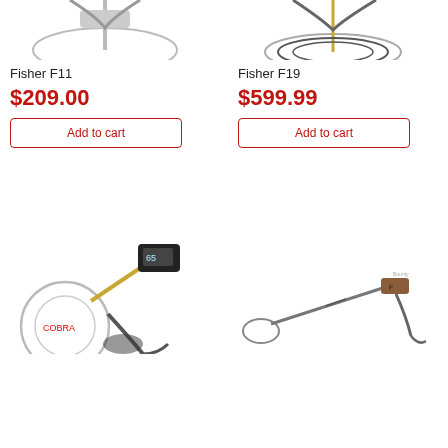[Figure (photo): Fisher F11 metal detector, partially cropped at top]
[Figure (photo): Fisher F19 metal detector, partially cropped at top]
Fisher F11
$209.00
Add to cart
Fisher F19
$599.99
Add to cart
[Figure (photo): Metal detector with round white coil and digital display, partially visible]
[Figure (photo): Metal detector, slim design, partially visible at bottom]